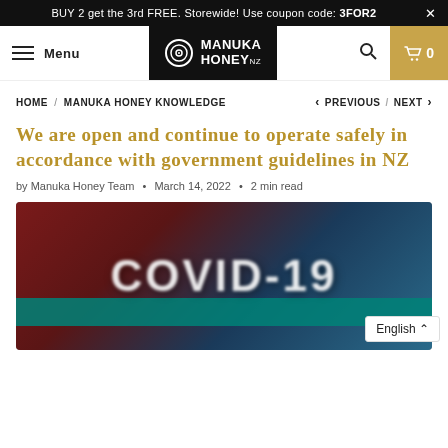BUY 2 get the 3rd FREE. Storewide! Use coupon code: 3FOR2
[Figure (logo): Manuka Honey NZ logo in black rectangle with circular target icon]
HOME / MANUKA HONEY KNOWLEDGE < PREVIOUS / NEXT >
We are open and continue to operate safely in accordance with government guidelines in NZ
by Manuka Honey Team • March 14, 2022 • 2 min read
[Figure (photo): Blurred COVID-19 sign with teal banner bar at bottom, red and blue background]